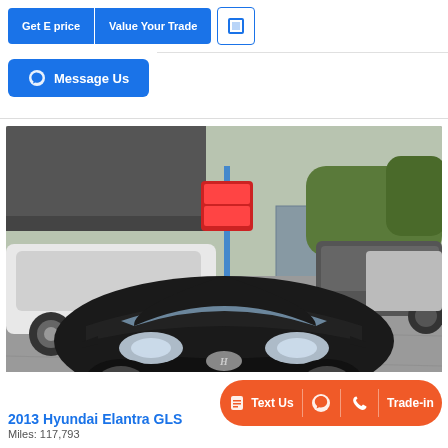[Figure (screenshot): UI buttons row: 'Get E price' and 'Value Your Trade' blue tab buttons, plus a square icon button]
[Figure (screenshot): Blue 'Message Us' button with messenger icon]
[Figure (photo): Photo of a black 2013 Hyundai Elantra GLS at a car dealership lot, front view, with other vehicles and building in background]
2013 Hyundai Elantra GLS
[Figure (screenshot): Orange action bar with 'Text Us', messenger icon, phone icon, and 'Trade-in' options]